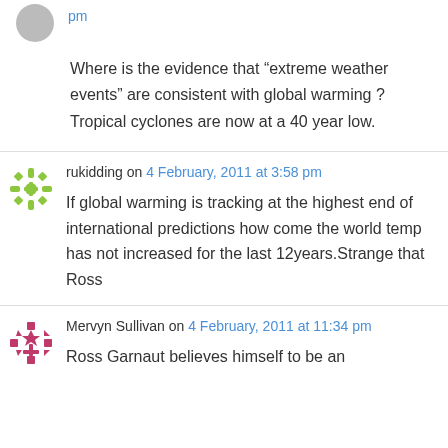pm
Where is the evidence that “extreme weather events” are consistent with global warming ? Tropical cyclones are now at a 40 year low.
rukidding on 4 February, 2011 at 3:58 pm
If global warming is tracking at the highest end of international predictions how come the world temp has not increased for the last 12years.Strange that Ross
Mervyn Sullivan on 4 February, 2011 at 11:34 pm
Ross Garnaut believes himself to be an